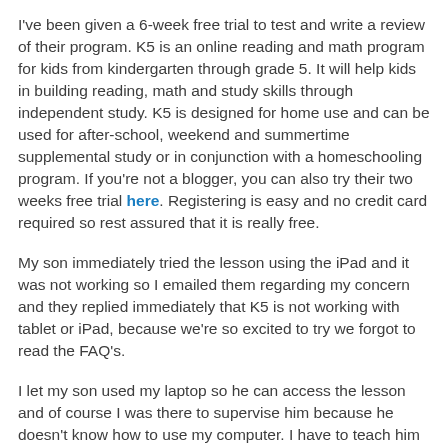I've been given a 6-week free trial to test and write a review of their program. K5 is an online reading and math program for kids from kindergarten through grade 5. It will help kids in building reading, math and study skills through independent study. K5 is designed for home use and can be used for after-school, weekend and summertime supplemental study or in conjunction with a homeschooling program. If you're not a blogger, you can also try their two weeks free trial here. Registering is easy and no credit card required so rest assured that it is really free.
My son immediately tried the lesson using the iPad and it was not working so I emailed them regarding my concern and they replied immediately that K5 is not working with tablet or iPad, because we're so excited to try we forgot to read the FAQ's.
I let my son used my laptop so he can access the lesson and of course I was there to supervise him because he doesn't know how to use my computer. I have to teach him the basics. I checked the lessons too and after two days I requested for an assessment because I feel that the